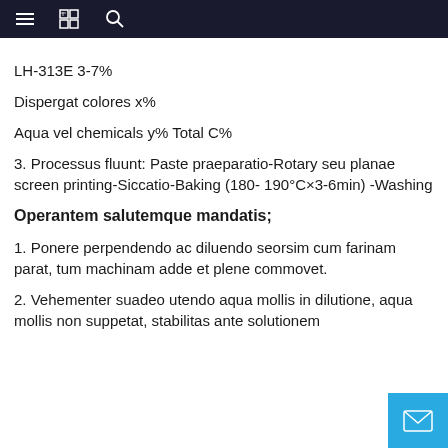≡ 📋 🔍
LH-313E 3-7%
Dispergat colores x%
Aqua vel chemicals y% Total C%
3. Processus fluunt: Paste praeparatio-Rotary seu planae screen printing-Siccatio-Baking (180- 190°C×3-6min) -Washing
Operantem salutemque mandatis;
1. Ponere perpendendo ac diluendo seorsim cum farinam parat, tum machinam adde et plene commovet.
2. Vehementer suadeo utendo aqua mollis in dilutione, aqua mollis non suppetat, stabilitas ante solutionem